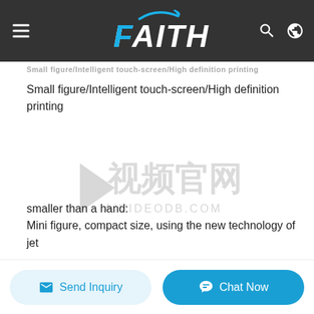FAITH
Small figure/Intelligent touch-screen/High definition printing
[Figure (other): Watermark overlay with Chinese characters and AIVIDEODB.COM logo]
smaller than a hand:
Mini figure, compact size, using the new technology of jet